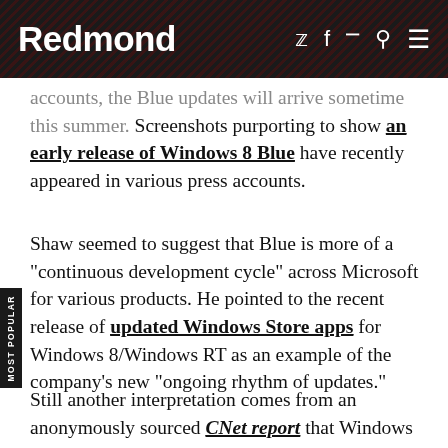Redmond
accounts, the Blue updates will arrive sometime this summer. Screenshots purporting to show an early release of Windows 8 Blue have recently appeared in various press accounts.
Shaw seemed to suggest that Blue is more of a "continuous development cycle" across Microsoft for various products. He pointed to the recent release of updated Windows Store apps for Windows 8/Windows RT as an example of the company's new "ongoing rhythm of updates."
Still another interpretation comes from an anonymously sourced CNet report that Windows Blue will be associated with Intel's Haswell chip for ultrabook computers. Current Windows 8 machines use the Ivy Bridge Intel processors, but Haswell...